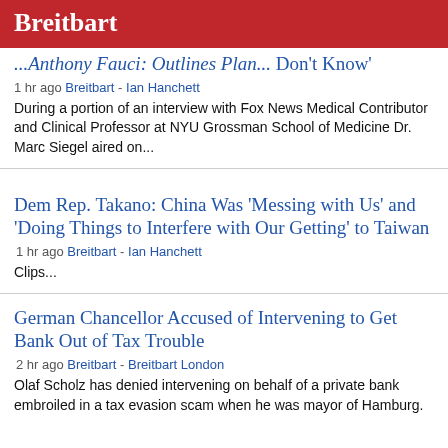Breitbart
...Anthony Fauci: Outlines Plan... Don't Know'
1 hr ago Breitbart - Ian Hanchett
During a portion of an interview with Fox News Medical Contributor and Clinical Professor at NYU Grossman School of Medicine Dr. Marc Siegel aired on...
Dem Rep. Takano: China Was 'Messing with Us' and 'Doing Things to Interfere with Our Getting' to Taiwan
1 hr ago Breitbart - Ian Hanchett
Clips...
German Chancellor Accused of Intervening to Get Bank Out of Tax Trouble
2 hr ago Breitbart - Breitbart London
Olaf Scholz has denied intervening on behalf of a private bank embroiled in a tax evasion scam when he was mayor of Hamburg.